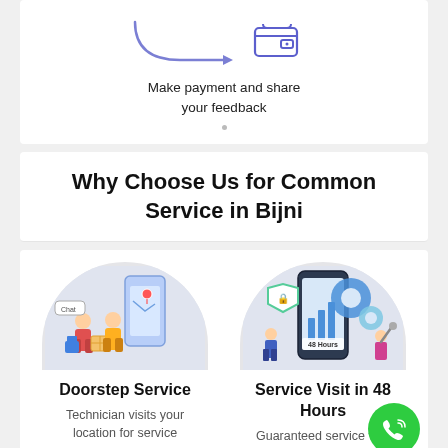[Figure (illustration): Rounded arrow pointing right toward a wallet icon, with text 'Make payment and share your feedback']
Make payment and share your feedback
Why Choose Us for Common Service in Bijni
[Figure (illustration): Illustration of a person receiving a delivery at doorstep with a mobile app map, inside a grey semicircle]
Doorstep Service
Technician visits your location for service
[Figure (illustration): Illustration of a technician working on a smartphone with gears, shield and 48 Hours label, inside a grey semicircle]
Service Visit in 48 Hours
Guaranteed service visit in 48 hours for any